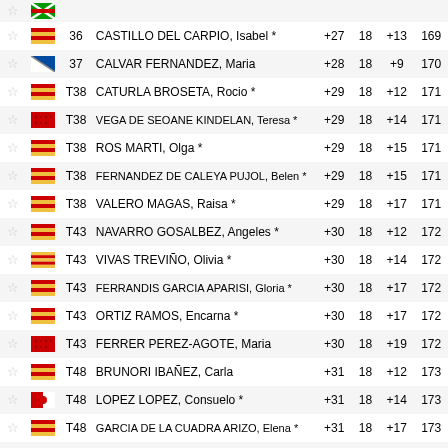|  |  | Pos | Name | Score1 | Holes | Score2 | Total |
| --- | --- | --- | --- | --- | --- | --- | --- |
| ☆ | flag-aragon | 36 | CASTILLO DEL CARPIO, Isabel * | +27 | 18 | +13 | 169 |
| ☆ | flag-diagonal | 37 | CALVAR FERNANDEZ, Maria | +28 | 18 | +9 | 170 |
| ☆ | flag-aragon | T38 | CATURLA BROSETA, Rocio * | +29 | 18 | +12 | 171 |
| ☆ | flag-madrid | T38 | VEGA DE SEOANE KINDELAN, Teresa * | +29 | 18 | +14 | 171 |
| ☆ | flag-aragon | T38 | ROS MARTI, Olga * | +29 | 18 | +15 | 171 |
| ☆ | flag-aragon | T38 | FERNANDEZ DE CALEYA PUJOL, Belen * | +29 | 18 | +15 | 171 |
| ☆ | flag-aragon | T38 | VALERO MAGAS, Raisa * | +29 | 18 | +17 | 171 |
| ☆ | flag-aragon | T43 | NAVARRO GOSALBEZ, Angeles * | +30 | 18 | +12 | 172 |
| ☆ | flag-aragon | T43 | VIVAS TREVIÑO, Olivia * | +30 | 18 | +14 | 172 |
| ☆ | flag-aragon | T43 | FERRANDIS GARCIA APARISI, Gloria * | +30 | 18 | +17 | 172 |
| ☆ | flag-aragon | T43 | ORTIZ RAMOS, Encarna * | +30 | 18 | +17 | 172 |
| ☆ | flag-madrid | T43 | FERRER PEREZ-AGOTE, Maria | +30 | 18 | +19 | 172 |
| ☆ | flag-aragon | T48 | BRUNORI IBAÑEZ, Carla | +31 | 18 | +12 | 173 |
| ☆ | flag-murcia | T48 | LOPEZ LOPEZ, Consuelo * | +31 | 18 | +14 | 173 |
| ☆ | flag-aragon | T48 | GARCIA DE LA CUADRA ARIZO, Elena * | +31 | 18 | +17 | 173 |
| ☆ | flag-canarias | 51 | OREJA MONTERO, Beatriz | +33 | 18 | +8 | 175 |